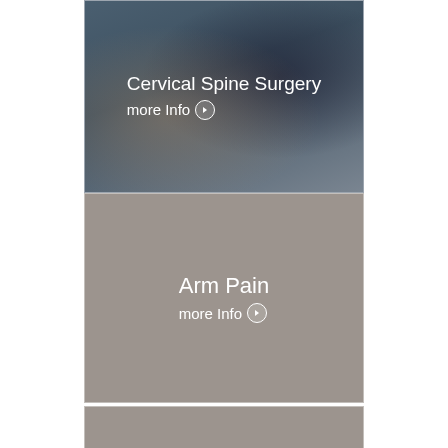[Figure (photo): Medical/doctor consultation photo with dark overlay showing doctor and patient at desk with computer monitor in background]
Cervical Spine Surgery
more Info ❯
[Figure (illustration): Gray placeholder card for Arm Pain]
Arm Pain
more Info ❯
[Figure (illustration): Gray placeholder card for Spinal Stenosis]
Spinal Stenosis
more Info ❯